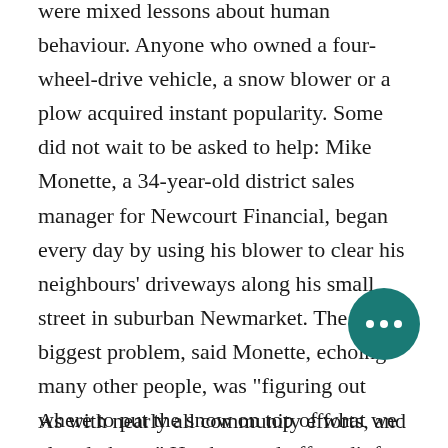were mixed lessons about human behaviour. Anyone who owned a four-wheel-drive vehicle, a snow blower or a plow acquired instant popularity. Some did not wait to be asked to help: Mike Monette, a 34-year-old district sales manager for Newcourt Financial, began every day by using his blower to clear his neighbours' driveways along his small street in suburban Newmarket. The biggest problem, said Monette, echoing many other people, was "figuring out where to put the snow on top of what we already have." He shrugged off credit for his efforts, saying: "What kind of a jerk would I be if I was [able to] give some help, and didn't do it?"
As with nearly all community efforts, and